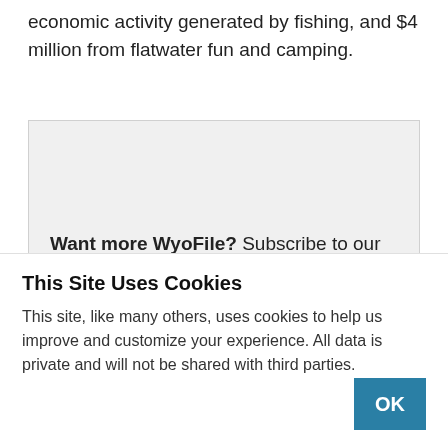economic activity generated by fishing, and $4 million from flatwater fun and camping.
Want more WyoFile? Subscribe to our free newsletter and stay informed on the stories that matter most.
This Site Uses Cookies
This site, like many others, uses cookies to help us improve and customize your experience. All data is private and will not be shared with third parties.